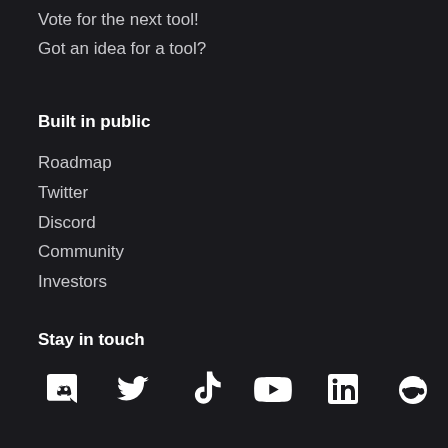Vote for the next tool!
Got an idea for a tool?
Built in public
Roadmap
Twitter
Discord
Community
Investors
Stay in touch
[Figure (infographic): Row of social media icons: Discord, Twitter, TikTok, YouTube, LinkedIn, Reddit]